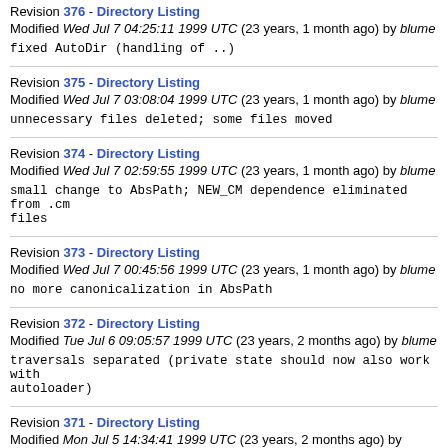Revision 376 - Directory Listing
Modified Wed Jul 7 04:25:11 1999 UTC (23 years, 1 month ago) by blume
fixed AutoDir (handling of ..)
Revision 375 - Directory Listing
Modified Wed Jul 7 03:08:04 1999 UTC (23 years, 1 month ago) by blume
unnecessary files deleted; some files moved
Revision 374 - Directory Listing
Modified Wed Jul 7 02:59:55 1999 UTC (23 years, 1 month ago) by blume
small change to AbsPath; NEW_CM dependence eliminated from .cm files
Revision 373 - Directory Listing
Modified Wed Jul 7 00:45:56 1999 UTC (23 years, 1 month ago) by blume
no more canonicalization in AbsPath
Revision 372 - Directory Listing
Modified Tue Jul 6 09:05:57 1999 UTC (23 years, 2 months ago) by blume
traversals separated (private state should now also work with autoloader)
Revision 371 - Directory Listing
Modified Mon Jul 5 14:34:41 1999 UTC (23 years, 2 months ago) by blume
backed out of thin traversals
Revision 370 - Directory Listing
Modified Mon Jul 5 08:59:13 1999 UTC (23 years, 2 months ago) by blume
thin traversals implemented (whew!)